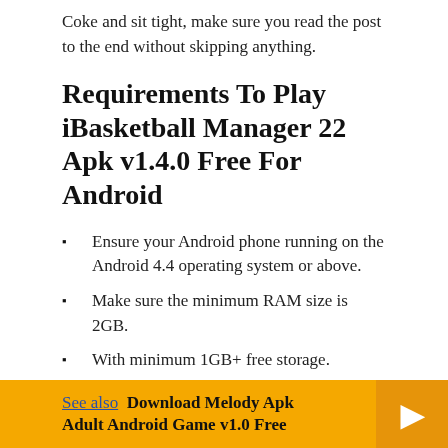Coke and sit tight, make sure you read the post to the end without skipping anything.
Requirements To Play iBasketball Manager 22 Apk v1.4.0 Free For Android
Ensure your Android phone running on the Android 4.4 operating system or above.
Make sure the minimum RAM size is 2GB.
With minimum 1GB+ free storage.
The Android phone must be powered by at least a Quad-core processor.
iBasketball Manager 22 Android apk Game file.
See also  Download Melody Apk Adult Android Game v1.0 Free